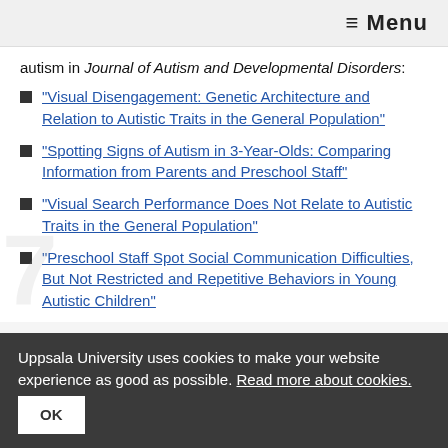≡ Menu
autism in Journal of Autism and Developmental Disorders:
"Visual Disengagement: Genetic Architecture and Relation to Autistic Traits in the General Population"
"Spotting Signs of Autism in 3-Year-Olds: Comparing Information from Parents and Preschool Staff"
"Visual Search Performance Does Not Relate to Autistic Traits in the General Population"
"Preschool Staff Spot Social Communication Difficulties, But Not Restricted and Repetitive Behaviors in Young Autistic Children"
Uppsala University uses cookies to make your website experience as good as possible. Read more about cookies. OK